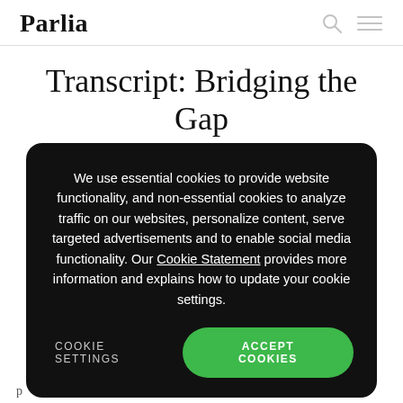Parlia
Transcript: Bridging the Gap with Stephen Hawkins
T
We use essential cookies to provide website functionality, and non-essential cookies to analyze traffic on our websites, personalize content, serve targeted advertisements and to enable social media functionality. Our Cookie Statement provides more information and explains how to update your cookie settings.
COOKIE SETTINGS    ACCEPT COOKIES
p